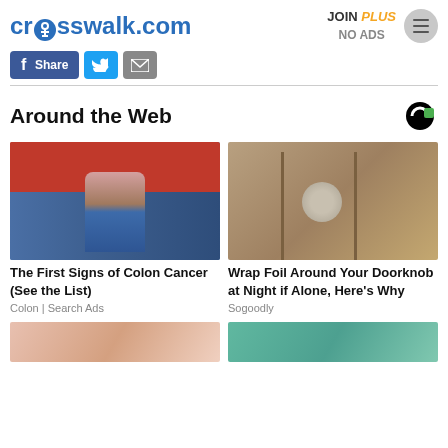crosswalk.com | JOIN PLUS NO ADS
Around the Web
[Figure (photo): Person in jeans and red top holding their midsection]
The First Signs of Colon Cancer (See the List)
Colon | Search Ads
[Figure (photo): Door with foil wrapped around doorknob]
Wrap Foil Around Your Doorknob at Night if Alone, Here's Why
Sogoodly
[Figure (photo): Close-up of person's neck/face]
[Figure (photo): Woman in teal/green top]